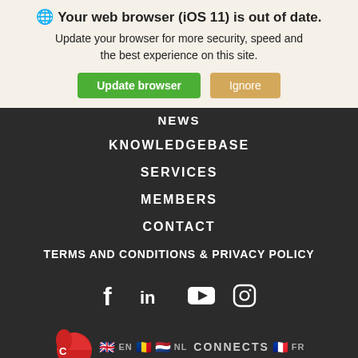🌐 Your web browser (iOS 11) is out of date. Update your browser for more security, speed and the best experience on this site.
Update browser | Ignore
NEWS
KNOWLEDGEBASE
SERVICES
MEMBERS
CONTACT
TERMS AND CONDITIONS & PRIVACY POLICY
[Figure (other): Social media icons: Facebook, LinkedIn, YouTube, Instagram]
[Figure (logo): Connects logo with language flags: EN, RO, NL, FR]